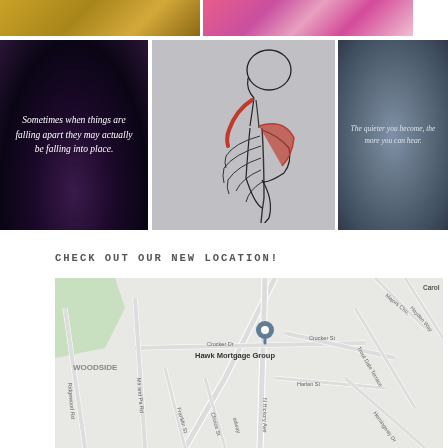[Figure (photo): Top strip showing two photos: wheat/grass field on left and colorful flowers on right]
[Figure (photo): Inspirational quote over night sky: 'Sometimes when things are falling apart they may actually be falling into place.']
[Figure (illustration): Medical/anatomy illustration showing human skeleton with highlighted red muscles on shoulder and neck area, side profile view]
[Figure (photo): Blurry bokeh background with quote: 'The quieter you become, the more you can hear.']
CHECK OUT OUR NEW LOCATION!
[Figure (map): Google Maps view showing Hawk Mortgage Group location pinned on N Hickory Ave, near Crocker Dr, Crocker St, Harlan St. Surrounding area shows WOODSIDE neighborhood, Ridgewood Rd, Franklin St, Choice St, Ma and Pa Rd, Trout Dale Terrace, Hemingway Dr, Hayden Way, Majors Ch., Carol label visible on right edge.]